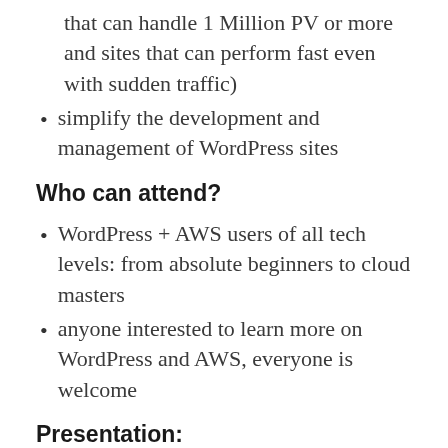that can handle 1 Million PV or more and sites that can perform fast even with sudden traffic)
simplify the development and management of WordPress sites
Who can attend?
WordPress + AWS users of all tech levels: from absolute beginners to cloud masters
anyone interested to learn more on WordPress and AWS, everyone is welcome
Presentation:
Language: English
Introduction on Amimoto AMI High Performance WordPress Cloud Hosting